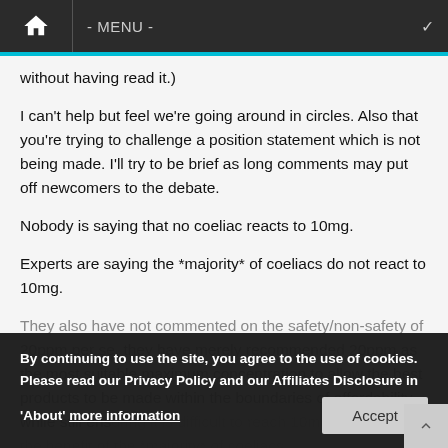- MENU -
without having read it.)
I can't help but feel we're going around in circles. Also that you're trying to challenge a position statement which is not being made. I'll try to be brief as long comments may put off newcomers to the debate.
Nobody is saying that no coeliac reacts to 10mg.
Experts are saying the *majority* of coeliacs do not react to 10mg.
They also have not commented on the safety/non-safety of 20ppm per se, they have merely recommended 20ppm as the most suitable maximum concentration to allow the best products to be made within the boundaries of affordability while still ensuring it is difficult to reach 10mg. This is for the benefit of the *majority* of coeliacs.
Long term studies are not available because, obviously, it
By continuing to use the site, you agree to the use of cookies. Please read our Privacy Policy and our Affiliates Disclosure in 'About' more information
Accept